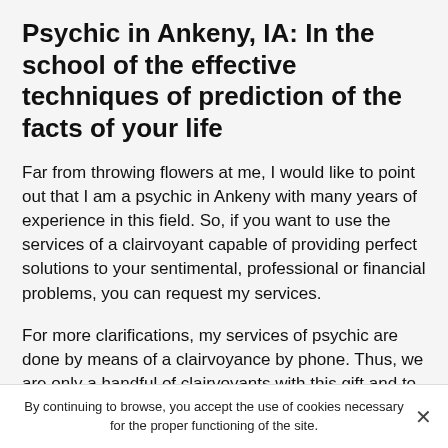Psychic in Ankeny, IA: In the school of the effective techniques of prediction of the facts of your life
Far from throwing flowers at me, I would like to point out that I am a psychic in Ankeny with many years of experience in this field. So, if you want to use the services of a clairvoyant capable of providing perfect solutions to your sentimental, professional or financial problems, you can request my services.
For more clarifications, my services of psychic are done by means of a clairvoyance by phone. Thus, we are only a handful of clairvoyants with this gift and to launch out in search of a serious clairvoyant could in view of the number quickly discourage you.
I can best distinguish myself from the other psychics...
By continuing to browse, you accept the use of cookies necessary for the proper functioning of the site.